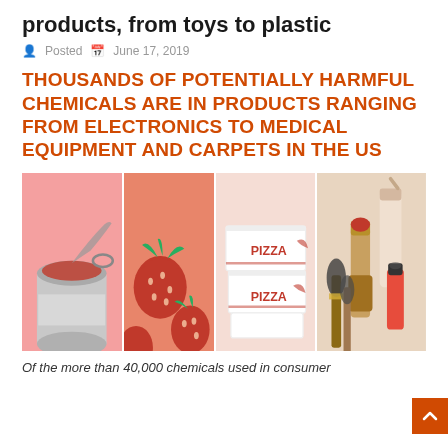products, from toys to plastic
Posted  June 17, 2019
THOUSANDS OF POTENTIALLY HARMFUL CHEMICALS ARE IN PRODUCTS RANGING FROM ELECTRONICS TO MEDICAL EQUIPMENT AND CARPETS IN THE US
[Figure (photo): A composite image of four panels showing consumer products on pink/beige backgrounds: an open tin can, fresh strawberries, stacked pizza boxes labeled PIZZA, and cosmetics including lipstick, nail polish, and makeup brushes.]
Of the more than 40,000 chemicals used in consumer